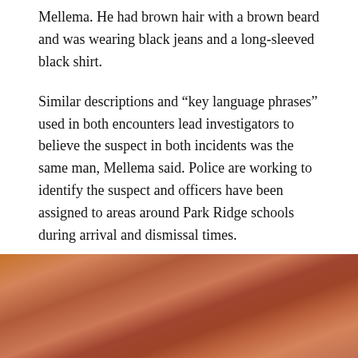Mellema. He had brown hair with a brown beard and was wearing black jeans and a long-sleeved black shirt.
Similar descriptions and “key language phrases” used in both encounters lead investigators to believe the suspect in both incidents was the same man, Mellema said. Police are working to identify the suspect and officers have been assigned to areas around Park Ridge schools during arrival and dismissal times.
Anyone with information about the man is asked to call 911.
[Figure (photo): Blurry warm-toned photograph showing indistinct figures or faces in orange, red, and brown hues, partially visible at the bottom of the page.]